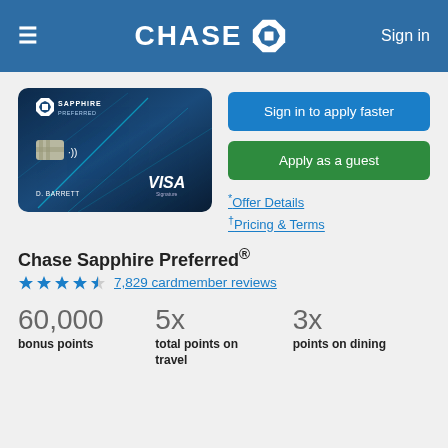≡  CHASE  Sign in
[Figure (photo): Chase Sapphire Preferred Visa Signature credit card with D. Barrett cardholder name on dark blue background with light streaks]
Sign in to apply faster
Apply as a guest
*Offer Details
†Pricing & Terms
Chase Sapphire Preferred®
★★★★½ 7,829 cardmember reviews
60,000
bonus points
5x
total points on travel
3x
points on dining